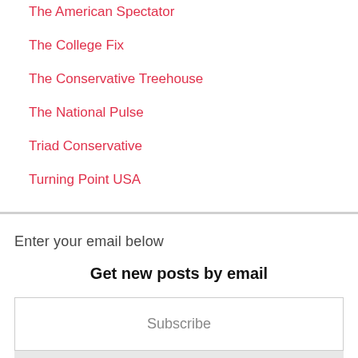The American Spectator
The College Fix
The Conservative Treehouse
The National Pulse
Triad Conservative
Turning Point USA
Enter your email below
Get new posts by email
Subscribe
Subscribe